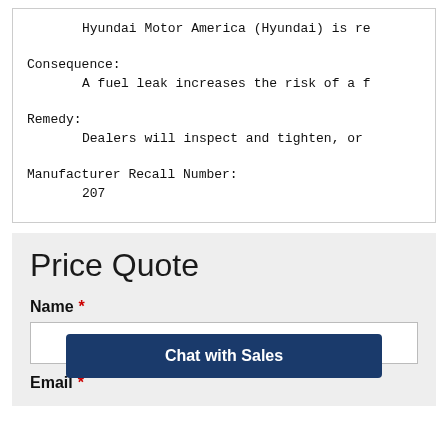Hyundai Motor America (Hyundai) is re
Consequence:
        A fuel leak increases the risk of a f
Remedy:
        Dealers will inspect and tighten, or
Manufacturer Recall Number:
        207
Price Quote
Name *
Email *